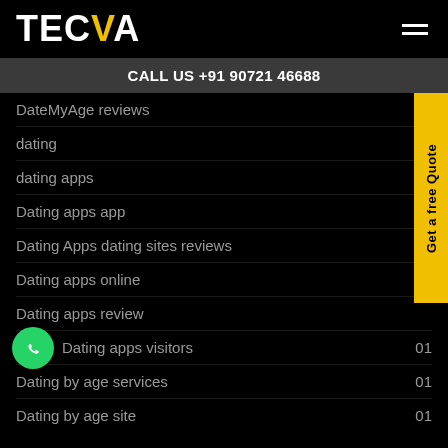TECVA
CALL US +91 90721 46688
DateMyAge reviews  02
dating  09
dating apps  13
Dating apps app
Dating Apps dating sites reviews
Dating apps online
Dating apps review
Dating apps visitors  01
Dating by age services  01
Dating by age site  01